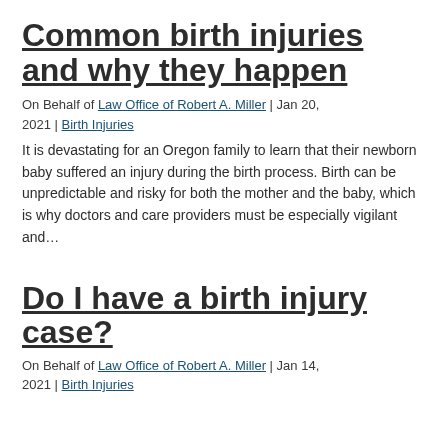Common birth injuries and why they happen
On Behalf of Law Office of Robert A. Miller | Jan 20, 2021 | Birth Injuries
It is devastating for an Oregon family to learn that their newborn baby suffered an injury during the birth process. Birth can be unpredictable and risky for both the mother and the baby, which is why doctors and care providers must be especially vigilant and...
Do I have a birth injury case?
On Behalf of Law Office of Robert A. Miller | Jan 14, 2021 | Birth Injuries